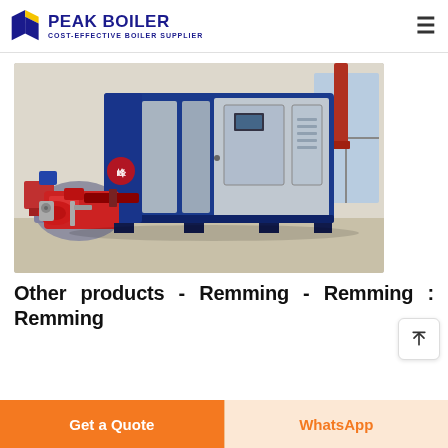PEAK BOILER - COST-EFFECTIVE BOILER SUPPLIER
[Figure (photo): Industrial boiler unit — a large blue and silver rectangular boiler with control panels, red burner assembly on the left side, installed in a factory building with windows and pipes visible in background.]
Other products - Remming - Remming : Remming
Get a Quote
WhatsApp